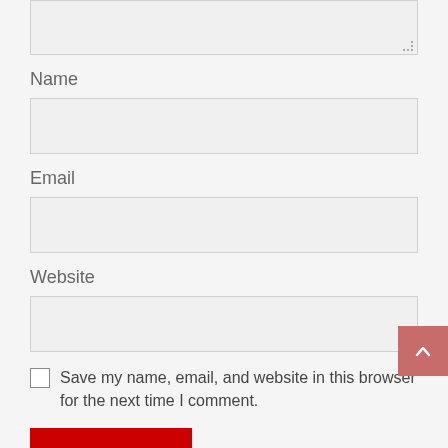[Figure (screenshot): Textarea input box at top of page, partially visible, with resize handle at bottom right]
Name
[Figure (screenshot): Text input box for Name field]
Email
[Figure (screenshot): Text input box for Email field]
Website
[Figure (screenshot): Text input box for Website field]
Save my name, email, and website in this browser for the next time I comment.
[Figure (screenshot): Red submit button at bottom of form, partially visible]